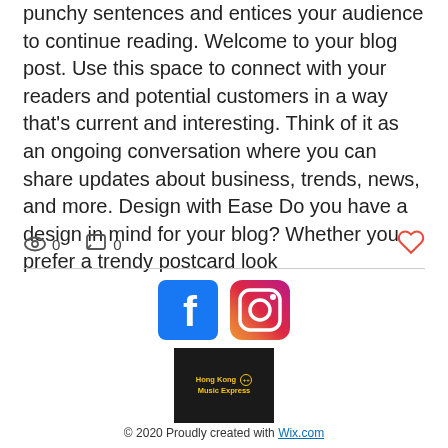punchy sentences and entices your audience to continue reading. Welcome to your blog post. Use this space to connect with your readers and potential customers in a way that's current and interesting. Think of it as an ongoing conversation where you can share updates about business, trends, news, and more. Design with Ease Do you have a design in mind for your blog? Whether you prefer a trendy postcard look
👁 0   💬 0   ♡
[Figure (logo): Facebook logo icon (blue square with white F)]
[Figure (logo): Instagram logo icon (colorful camera icon with gradient)]
[Figure (logo): Hong Kong Music Express logo - black square with yellow text]
© 2020 Proudly created with Wix.com